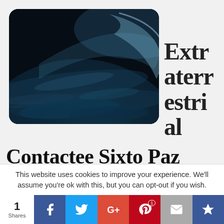[Figure (photo): Photo of Earth from space showing the planet's curved horizon against a dark background, with blue and teal atmospheric colors and cloud formations visible.]
Extraterrestrial Contactee Sixto Paz Wells
Sixto Paz Wells was born in Lima, Peru, in 1955, and
This website uses cookies to improve your experience. We'll assume you're ok with this, but you can opt-out if you wish.